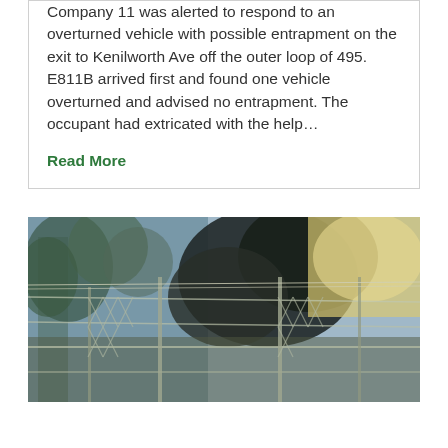Company 11 was alerted to respond to an overturned vehicle with possible entrapment on the exit to Kenilworth Ave off the outer loop of 495. E811B arrived first and found one vehicle overturned and advised no entrapment. The occupant had extricated with the help…
Read More
[Figure (photo): Outdoor photo showing a chain-link fence in the foreground with trees on the left side and dark smoke billowing in the background against a bright sky.]